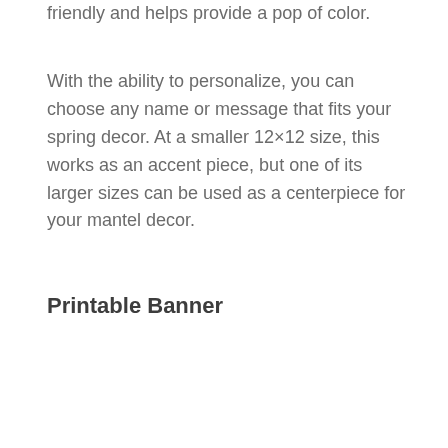friendly and helps provide a pop of color.
With the ability to personalize, you can choose any name or message that fits your spring decor. At a smaller 12×12 size, this works as an accent piece, but one of its larger sizes can be used as a centerpiece for your mantel decor.
Printable Banner